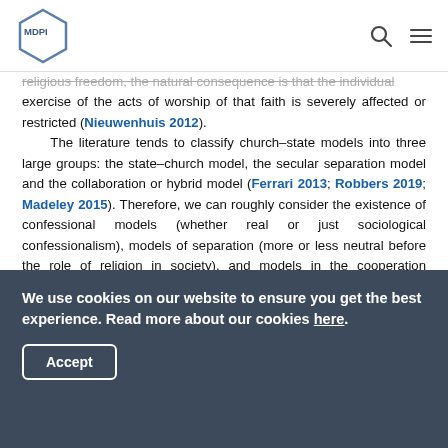MDPI [logo with navigation icons]
religious freedom, the natural consequence is that the individual exercise of the acts of worship of that faith is severely affected or restricted (Nieuwenhuis 2012). The literature tends to classify church–state models into three large groups: the state–church model, the secular separation model and the collaboration or hybrid model (Ferrari 2013; Robbers 2019; Madeley 2015). Therefore, we can roughly consider the existence of confessional models (whether real or just sociological confessionalism), models of separation (more or less neutral before the role of religion in society), and models in the cooperation category. It is possible to affirm that the differences between these models are conditioned by historical, cultural and social factors, which in practice, generate
We use cookies on our website to ensure you get the best experience. Read more about our cookies here. [Accept button]